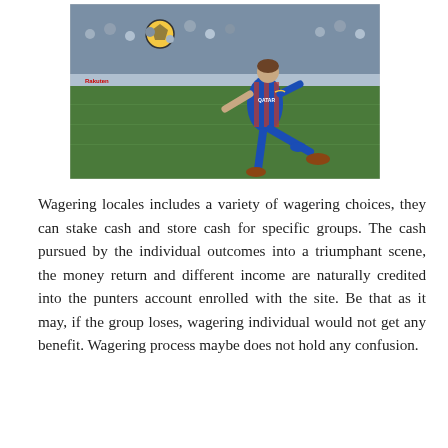[Figure (photo): A soccer player wearing a blue and red Barcelona FC kit with QATAR sponsor, kicking a soccer ball. The player is mid-kick on a grass pitch with a crowd and advertising boards in the background.]
Wagering locales includes a variety of wagering choices, they can stake cash and store cash for specific groups. The cash pursued by the individual outcomes into a triumphant scene, the money return and different income are naturally credited into the punters account enrolled with the site. Be that as it may, if the group loses, wagering individual would not get any benefit. Wagering process maybe does not hold any confusion.